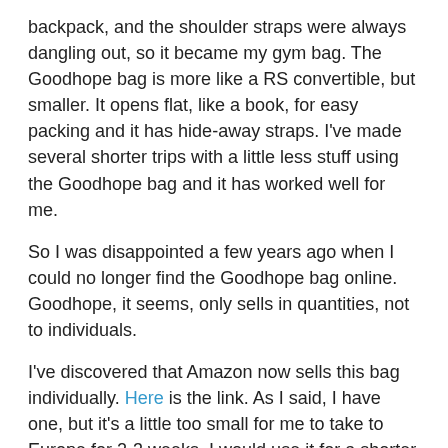backpack, and the shoulder straps were always dangling out, so it became my gym bag. The Goodhope bag is more like a RS convertible, but smaller. It opens flat, like a book, for easy packing and it has hide-away straps. I've made several shorter trips with a little less stuff using the Goodhope bag and it has worked well for me.
So I was disappointed a few years ago when I could no longer find the Goodhope bag online. Goodhope, it seems, only sells in quantities, not to individuals.
I've discovered that Amazon now sells this bag individually. Here is the link. As I said, I have one, but it's a little too small for me to take to Europe for 2-3 weeks. I would use it for a shorter trip domestically. I'm even wondering if it would qualify as a personal item on United when the go the the basic economy fare (a personal item, only). Two of it's dimensions are slightly larger than the personal item dimensions shown on United's website, but the third one is enough less that it's total volume is less then their personal item and it's flexible.